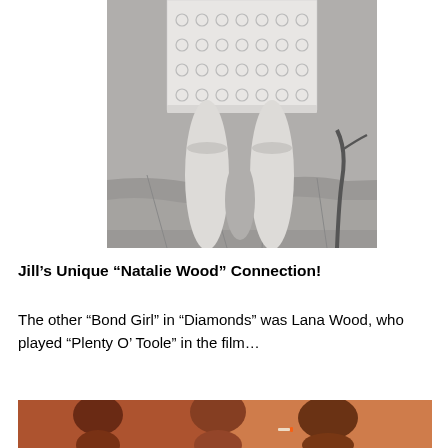[Figure (photo): Black and white photograph showing the lower body of a woman wearing a white lace/crochet mini dress, standing on a stone paved surface]
Jill’s Unique “Natalie Wood” Connection!
The other “Bond Girl” in “Diamonds” was Lana Wood, who played “Plenty O’ Toole” in the film…
[Figure (photo): Color photograph showing two people in a scene, appears to be a film still with warm tones]